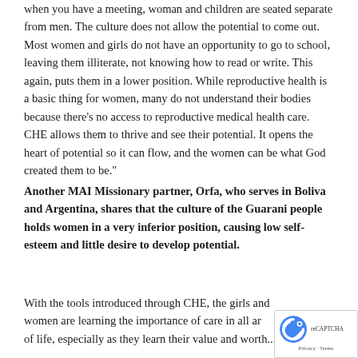when you have a meeting, woman and children are seated separate from men. The culture does not allow the potential to come out. Most women and girls do not have an opportunity to go to school, leaving them illiterate, not knowing how to read or write. This again, puts them in a lower position. While reproductive health is a basic thing for women, many do not understand their bodies because there's no access to reproductive medical health care. CHE allows them to thrive and see their potential. It opens the heart of potential so it can flow, and the women can be what God created them to be."
Another MAI Missionary partner, Orfa, who serves in Boliva and Argentina, shares that the culture of the Guarani people holds women in a very inferior position, causing low self-esteem and little desire to develop potential.
With the tools introduced through CHE, the girls and women are learning the importance of care in all areas of life, especially as they learn their value and worth...